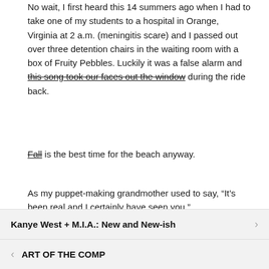No wait, I first heard this 14 summers ago when I had to take one of my students to a hospital in Orange, Virginia at 2 a.m. (meningitis scare) and I passed out over three detention chairs in the waiting room with a box of Fruity Pebbles. Luckily it was a false alarm and this song took our faces out the window during the ride back.
Fall is the best time for the beach anyway.
As my puppet-making grandmother used to say, “It’s been real and I certainly have seen you.”
Kanye West + M.I.A.: New and New-ish
ART OF THE COMP